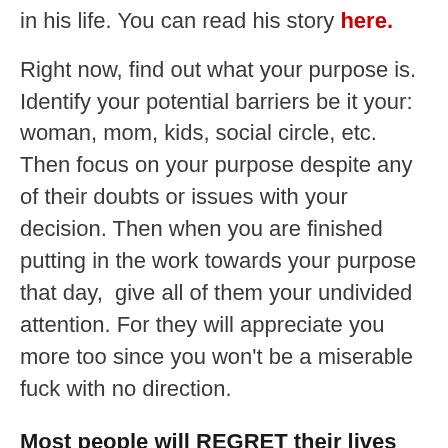in his life. You can read his story here.
Right now, find out what your purpose is. Identify your potential barriers be it your: woman, mom, kids, social circle, etc. Then focus on your purpose despite any of their doubts or issues with your decision. Then when you are finished putting in the work towards your purpose that day,  give all of them your undivided attention. For they will appreciate you more too since you won't be a miserable fuck with no direction.
Most people will REGRET their lives and die with their song still in them.